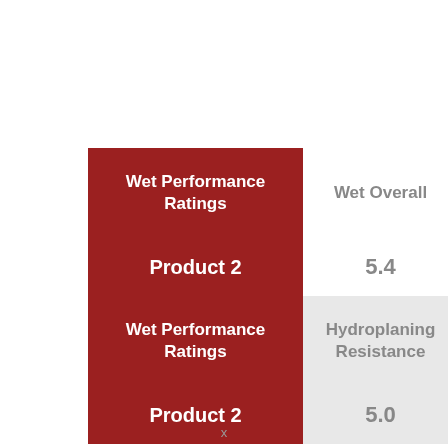| Wet Performance Ratings | Wet Overall |
| --- | --- |
| Product 2 | 5.4 |
| Wet Performance Ratings | Hydroplaning Resistance |
| Product 2 | 5.0 |
x